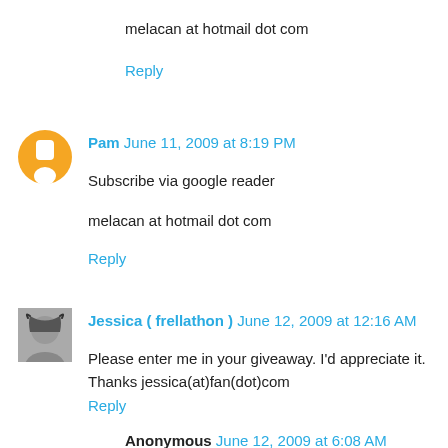melacan at hotmail dot com
Reply
Pam  June 11, 2009 at 8:19 PM
Subscribe via google reader
melacan at hotmail dot com
Reply
Jessica ( frellathon )  June 12, 2009 at 12:16 AM
Please enter me in your giveaway. I'd appreciate it. Thanks jessica(at)fan(dot)com
Reply
Anonymous  June 12, 2009 at 6:08 AM
Next, I'd like to read 'The Girl Who Could Fly' by Victoria